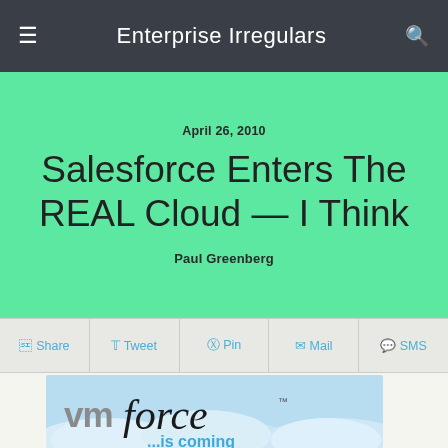Enterprise Irregulars
April 26, 2010
Salesforce Enters The REAL Cloud — I Think
Paul Greenberg
Share  Tweet  Pin  Mail  SMS
[Figure (logo): VMforce logo with text '...is coming' on a blue cloud background]